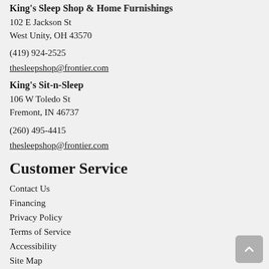King's Sleep Shop & Home Furnishings
102 E Jackson St
West Unity, OH 43570
(419) 924-2525
thesleepshop@frontier.com
King's Sit-n-Sleep
106 W Toledo St
Fremont, IN 46737
(260) 495-4415
thesleepshop@frontier.com
Customer Service
Contact Us
Financing
Privacy Policy
Terms of Service
Accessibility
Site Map
Do Not Sell My Personal Information